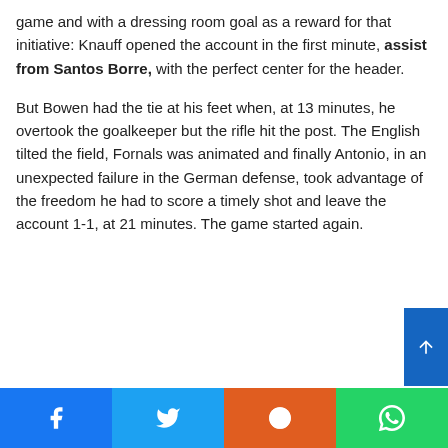game and with a dressing room goal as a reward for that initiative: Knauff opened the account in the first minute, assist from Santos Borre, with the perfect center for the header.
But Bowen had the tie at his feet when, at 13 minutes, he overtook the goalkeeper but the rifle hit the post. The English tilted the field, Fornals was animated and finally Antonio, in an unexpected failure in the German defense, took advantage of the freedom he had to score a timely shot and leave the account 1-1, at 21 minutes. The game started again.